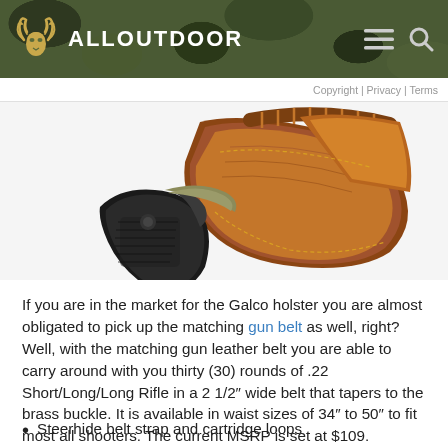ALLOUTDOOR
Copyright | Privacy | Terms
[Figure (photo): A black-grip revolver pistol shown in a brown leather Galco holster, displayed against a white background. The holster is a rich tan/cognac color with stitching detail and cartridge loops visible at top.]
If you are in the market for the Galco holster you are almost obligated to pick up the matching gun belt as well, right? Well, with the matching gun leather belt you are able to carry around with you thirty (30) rounds of .22 Short/Long/Long Rifle in a 2 1/2” wide belt that tapers to the brass buckle. It is available in waist sizes of 34” to 50” to fit most all shooters. The current MSRP is set at $109.
Steerhide belt strap and cartridge loops